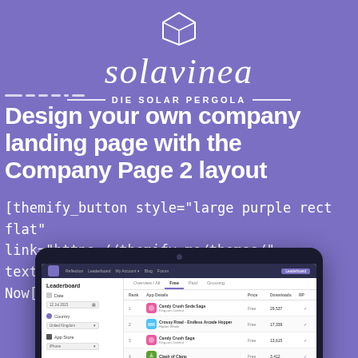[Figure (logo): Solavinea logo with script text and 3D box icon, tagline DIE SOLAR PERGOLA]
Design your own company landing page with the Company Page 2 layout
[themify_button style="large purple rect flat" link="https://themify.me/themes/" text="#ffffff" ]Buy Now[/themify_button]
[Figure (screenshot): Laptop screenshot showing a Leaderboard app interface with rankings for Candy Crush Soda Saga, Crossy Road - Endless Arcade Hopper, Candy Crush Saga, and Clash of Clans]